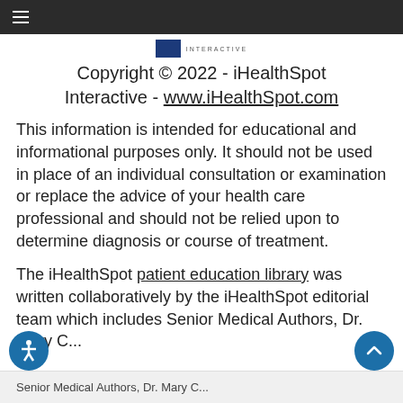≡ [iHealthSpot Interactive logo]
Copyright © 2022 - iHealthSpot Interactive - www.iHealthSpot.com
This information is intended for educational and informational purposes only. It should not be used in place of an individual consultation or examination or replace the advice of your health care professional and should not be relied upon to determine diagnosis or course of treatment.
The iHealthSpot patient education library was written collaboratively by the iHealthSpot editorial team which includes Senior Medical Authors, Dr. Mary C...